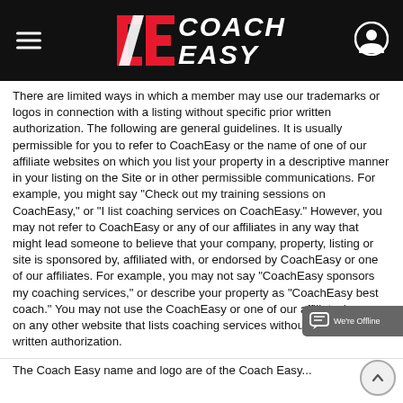Coach Easy
There are limited ways in which a member may use our trademarks or logos in connection with a listing without specific prior written authorization.  The following are general guidelines.  It is usually permissible for you to refer to CoachEasy or the name of one of our affiliate websites on which you list your property in a descriptive manner in your listing on the Site or in other permissible communications. For example, you might say "Check out my training sessions on CoachEasy," or "I list coaching services on CoachEasy."  However, you may not refer to CoachEasy or any of our affiliates in any way that might lead someone to believe that your company, property, listing or site is sponsored by, affiliated with, or endorsed by CoachEasy or one of our affiliates.  For example, you may not say "CoachEasy sponsors my coaching services," or describe your property as "CoachEasy best coach."  You may not use the CoachEasy or one of our affiliates' names on any other website that lists coaching services without our prior written authorization.
The Coach Easy name and logo are of the Coach Easy...